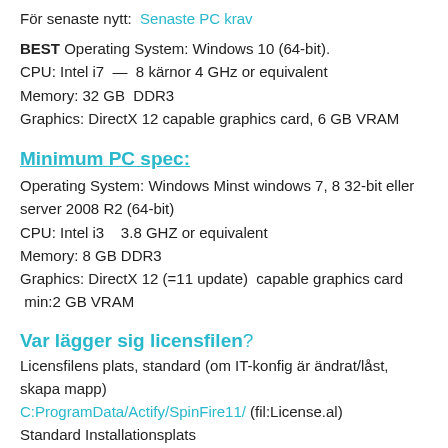För senaste nytt:  Senaste PC krav
BEST Operating System: Windows 10 (64-bit).
CPU: Intel i7  —  8 kärnor 4 GHz or equivalent
Memory: 32 GB  DDR3
Graphics: DirectX 12 capable graphics card, 6 GB VRAM
Minimum PC spec:
Operating System: Windows Minst windows 7, 8 32-bit eller server 2008 R2 (64-bit)
CPU: Intel i3   3.8 GHZ or equivalent
Memory: 8 GB DDR3
Graphics: DirectX 12 (=11 update)  capable graphics card  min:2 GB VRAM
Var lägger sig licensfilen?
Licensfilens plats, standard (om IT-konfig är ändrat/låst, skapa mapp)
C:ProgramData/Actify/SpinFire11/ (fil:License.al)
Standard Installationsplats
C:Program Files/Actify/SpinFire11/
(fil:SpinFire.exe)